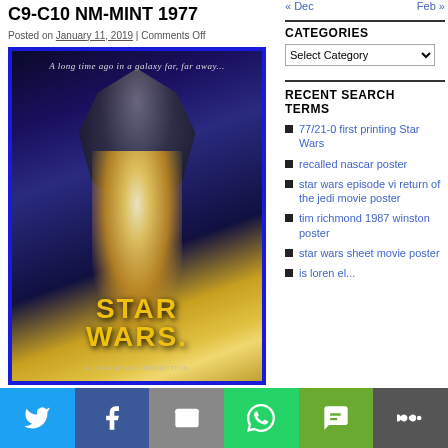C9-C10 NM-MINT 1977
Posted on January 11, 2019 | Comments Off
[Figure (photo): Star Wars 1977 original movie poster showing Darth Vader silhouette with heroes, text 'A long time ago in a galaxy far, far away...' at top, STAR WARS title at bottom, A LUCASFILM PRODUCTION credit]
« Dec
Feb »
CATEGORIES
Select Category
RECENT SEARCH TERMS
77/21-0 first printing Star Wars
recalled nascar poster
star wars episode vi return of the jedi movie poster
tim richmond 1987 winston poster
star wars sheet movie poster
is loren el...